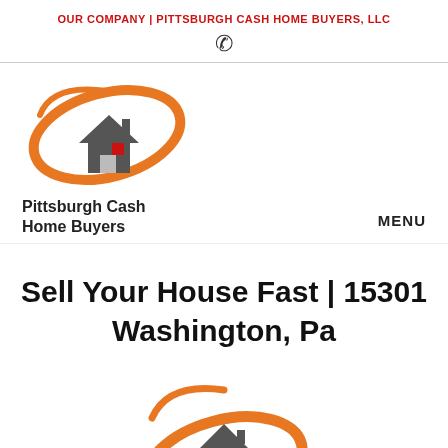OUR COMPANY | PITTSBURGH CASH HOME BUYERS, LLC
[Figure (logo): Pittsburgh Cash Home Buyers logo with orange ellipse and house icon, with text 'Pittsburgh Cash Home Buyers']
MENU
Sell Your House Fast | 15301 Washington, Pa
[Figure (logo): Pittsburgh Cash Home Buyers partial logo at bottom of page, showing orange ellipse and house icon]